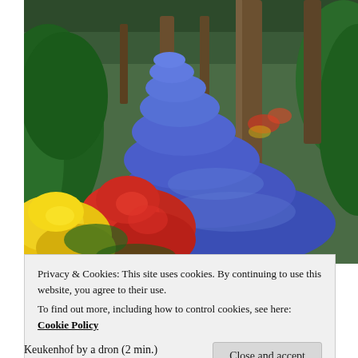[Figure (photo): Keukenhof garden photo showing a river of blue muscari flowers winding between trees, with red tulips and yellow daffodils in the foreground, surrounded by green foliage and tall tree trunks]
Privacy & Cookies: This site uses cookies. By continuing to use this website, you agree to their use.
To find out more, including how to control cookies, see here: Cookie Policy
Close and accept
Keukenhof by a dron (2 min.)